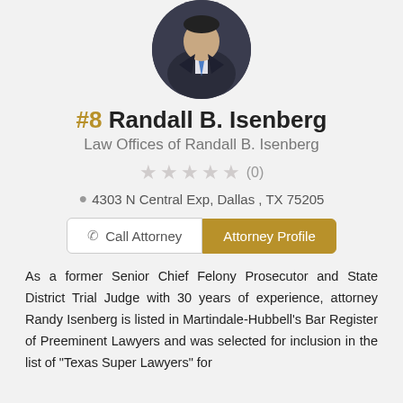[Figure (photo): Circular headshot photo of attorney Randall B. Isenberg in a dark suit and blue tie]
#8 Randall B. Isenberg
Law Offices of Randall B. Isenberg
★★★★★ (0)
4303 N Central Exp, Dallas , TX 75205
Call Attorney  |  Attorney Profile
As a former Senior Chief Felony Prosecutor and State District Trial Judge with 30 years of experience, attorney Randy Isenberg is listed in Martindale-Hubbell's Bar Register of Preeminent Lawyers and was selected for inclusion in the list of "Texas Super Lawyers" for